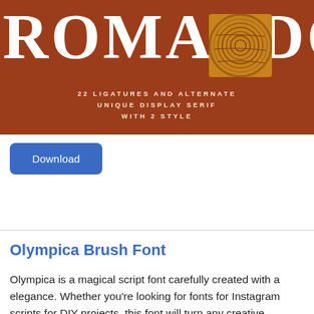[Figure (illustration): Brown/terracotta banner with large white serif letters partially visible (ROMADOR or similar), a wood grain texture image inset top-right, and centered text reading '22 LIGATURES AND ALTERNATE / UNIQUE DISPLAY SERIF / WITH 2 STYLE' in spaced white caps.]
Download
Olympica Brush Font
Olympica is a magical script font carefully created with a elegance. Whether you're looking for fonts for Instagram scripts for DIY projects, this font will turn any creative